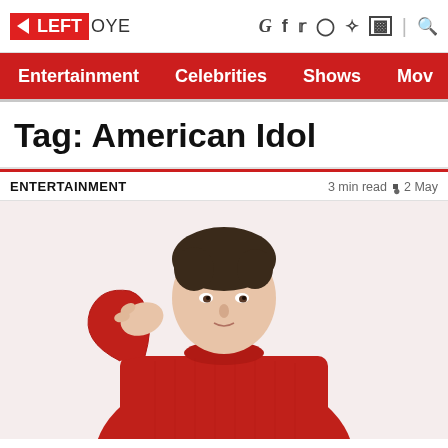LEFT OYE — Entertainment news website header with social icons (G, f, Twitter, Instagram, Pinterest, Flipboard, Search)
Navigation: Entertainment | Celebrities | Shows | Mov
Tag: American Idol
ENTERTAINMENT
3 min read • 2 May
[Figure (photo): Young man with dark hair wearing a red knit sweater, resting his chin/hand near his face, posed against a light background.]